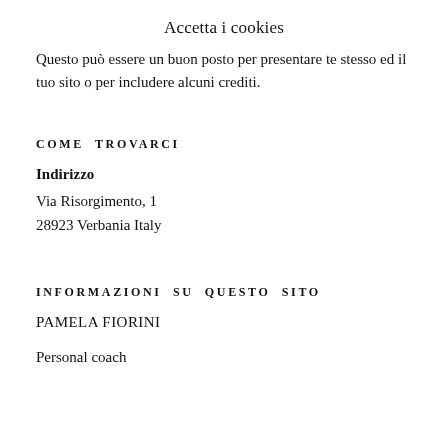Accetta i cookies
Questo può essere un buon posto per presentare te stesso ed il tuo sito o per includere alcuni crediti.
COME TROVARCI
Indirizzo
Via Risorgimento, 1
28923 Verbania Italy
INFORMAZIONI SU QUESTO SITO
PAMELA FIORINI
Personal coach